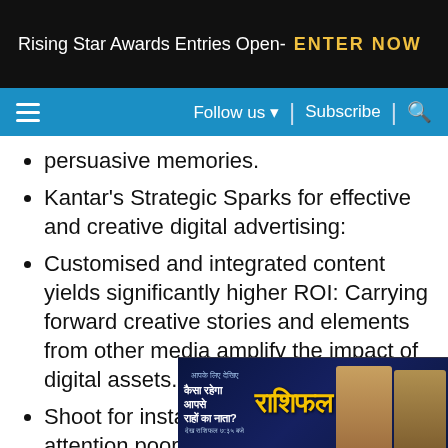Rising Star Awards Entries Open- ENTER NOW
≡   Follow us ▼  |  Subscribe  |  🔍
persuasive memories.
Kantar's Strategic Sparks for effective and creative digital advertising:
Customised and integrated content yields significantly higher ROI: Carrying forward creative stories and elements from other media amplify the impact of digital assets.
Shoot for instant meaning: Given the attention poor consumers and short window avail... cons...
[Figure (photo): Advertisement banner in Hindi for an astrology/horoscope show featuring two men and stylized text]